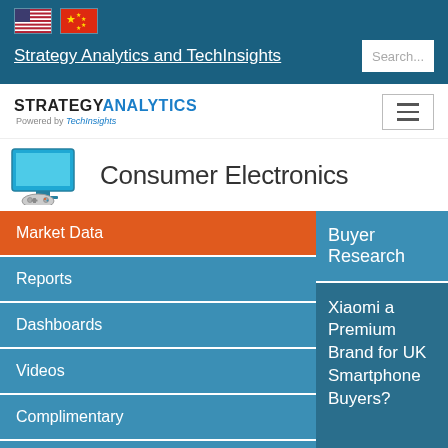[Figure (screenshot): US and China flag icons in top navigation bar]
Strategy Analytics and TechInsights
[Figure (logo): Strategy Analytics powered by TechInsights logo]
Consumer Electronics
Market Data
Reports
Dashboards
Videos
Complimentary
About
Buyer Research
Xiaomi a Premium Brand for UK Smartphone Buyers?